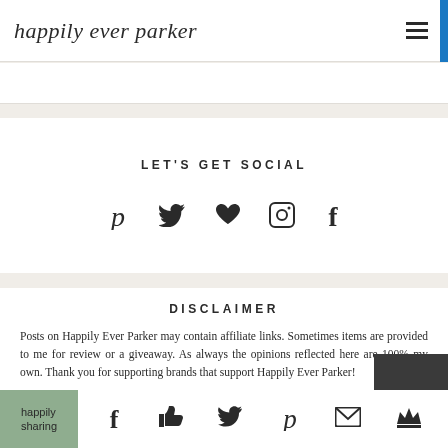happily ever parker
LET'S GET SOCIAL
[Figure (other): Social media icons: Pinterest, Twitter, heart/Bloglovin, Instagram, Facebook]
DISCLAIMER
Posts on Happily Ever Parker may contain affiliate links. Sometimes items are provided to me for review or a giveaway. As always the opinions reflected here are 100% my own. Thank you for supporting brands that support Happily Ever Parker!
[Figure (other): Share bar with icons: Facebook, thumbs up/like, Twitter, Pinterest, email, crown/bloglovin]